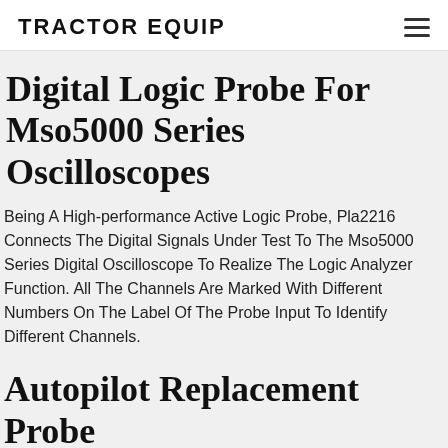TRACTOR EQUIP
Digital Logic Probe For Mso5000 Series Oscilloscopes
Being A High-performance Active Logic Probe, Pla2216 Connects The Digital Signals Under Test To The Mso5000 Series Digital Oscilloscope To Realize The Logic Analyzer Function. All The Channels Are Marked With Different Numbers On The Label Of The Probe Input To Identify Different Channels.
Autopilot Replacement Probe For Digital Co2 Ctrl Fuzzy Logic